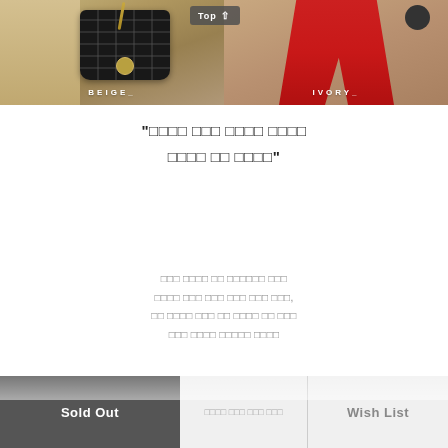[Figure (photo): Two product photos side by side. Left: person with black quilted Chanel-style bag on chain strap, warm beige background, labeled BEIGE_. Right: person wearing red wide-leg trousers, warm beige background, labeled IVORY_. A 'Top' button with upward arrow overlays the top center.]
"□□□□ □□□ □□□□ □□□□ □□□□ □□ □□□□"
□□□ □□□□ □□ □□□□□□ □□□
□□□□ □□□ □□□ □□□ □□□ □□□,
□□ □□□□ □□□ □□ □□□□ □□ □□□
□□□ □□□□ □□□□□ □□□□
Sold Out
□□□□ □□□ □□□ □□□
Wish List